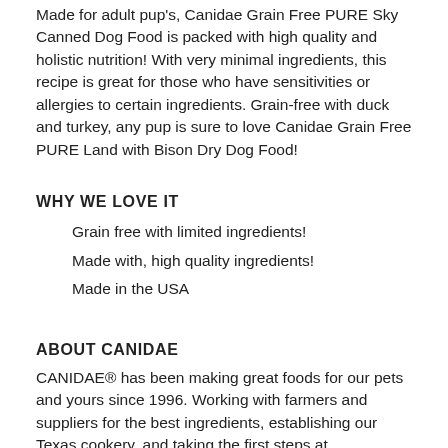Made for adult pup's, Canidae Grain Free PURE Sky Canned Dog Food is packed with high quality and holistic nutrition! With very minimal ingredients, this recipe is great for those who have sensitivities or allergies to certain ingredients. Grain-free with duck and turkey, any pup is sure to love Canidae Grain Free PURE Land with Bison Dry Dog Food!
WHY WE LOVE IT
Grain free with limited ingredients!
Made with, high quality ingredients!
Made in the USA
ABOUT CANIDAE
CANIDAE® has been making great foods for our pets and yours since 1996. Working with farmers and suppliers for the best ingredients, establishing our Texas cookery, and taking the first steps at CANIDAE® Farms toward getting involved in